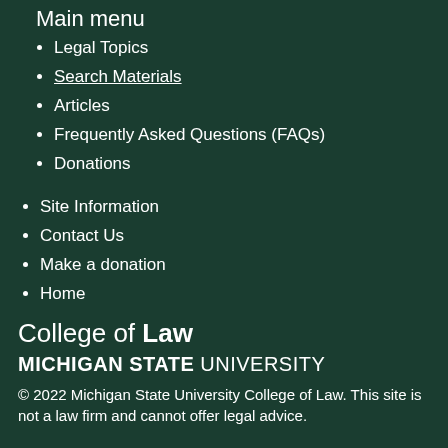Main menu
Legal Topics
Search Materials
Articles
Frequently Asked Questions (FAQs)
Donations
Site Information
Contact Us
Make a donation
Home
College of Law
MICHIGAN STATE UNIVERSITY
© 2022 Michigan State University College of Law. This site is not a law firm and cannot offer legal advice.